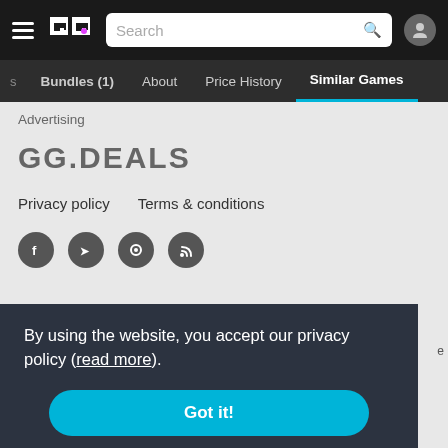GG Deals - Search bar navigation with hamburger menu, GG logo, search field, user icon
Bundles (1)  About  Price History  Similar Games
Advertising
GG.DEALS
Privacy policy    Terms & conditions
[Figure (other): Row of social media icon circles: Facebook, Twitter, Steam, RSS]
By using the website, you accept our privacy policy (read more).
Got it!
als is in guarantee something in a store, make sure that the prices are correct. We make use of affiliate programs